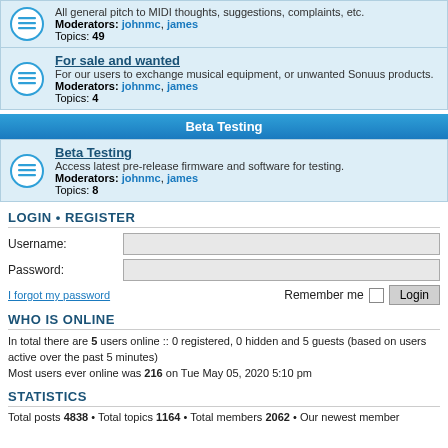All general pitch to MIDI thoughts, suggestions, complaints, etc.
Moderators: johnmc, james
Topics: 49
For sale and wanted
For our users to exchange musical equipment, or unwanted Sonuus products.
Moderators: johnmc, james
Topics: 4
Beta Testing
Beta Testing
Access latest pre-release firmware and software for testing.
Moderators: johnmc, james
Topics: 8
LOGIN • REGISTER
Username:
Password:
I forgot my password
Remember me  Login
WHO IS ONLINE
In total there are 5 users online :: 0 registered, 0 hidden and 5 guests (based on users active over the past 5 minutes)
Most users ever online was 216 on Tue May 05, 2020 5:10 pm
STATISTICS
Total posts 4838 • Total topics 1164 • Total members 2062 • Our newest member